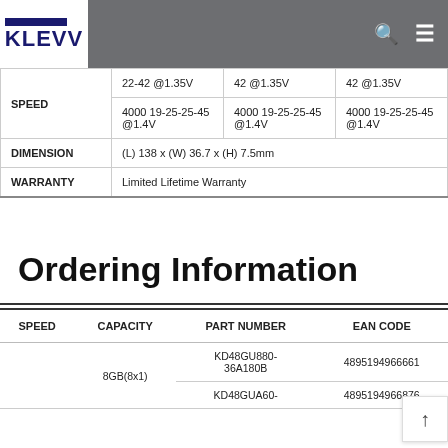KLEVV [logo] [search icon] [menu icon]
|  | Col1 | Col2 | Col3 |
| --- | --- | --- | --- |
| SPEED | 22-42 @1.35V | 42 @1.35V | 42 @1.35V |
|  | 4000 19-25-25-45 @1.4V | 4000 19-25-25-45 @1.4V | 4000 19-25-25-45 @1.4V |
| DIMENSION | (L) 138 x (W) 36.7 x (H) 7.5mm |  |  |
| WARRANTY | Limited Lifetime Warranty |  |  |
Ordering Information
| SPEED | CAPACITY | PART NUMBER | EAN CODE |
| --- | --- | --- | --- |
|  | 8GB(8x1) | KD48GU880-36A180B | 4895194966661 |
|  |  | KD48GUA60- | 4895194966876 |